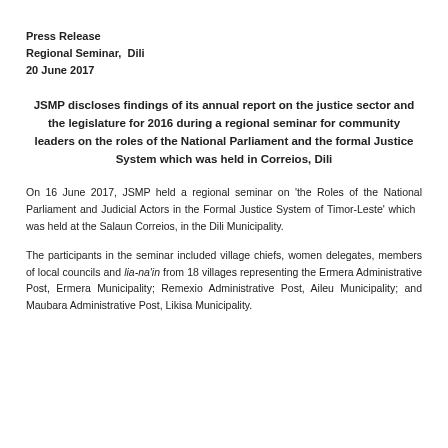Press Release
Regional Seminar,  Dili
20 June 2017
JSMP discloses findings of its annual report on the justice sector and the legislature for 2016 during a regional seminar for community leaders on the roles of the National Parliament and the formal Justice System which was held in Correios, Dili
On 16 June 2017, JSMP held a regional seminar on 'the Roles of the National Parliament and Judicial Actors in the Formal Justice System of Timor-Leste' which  was held at the Salaun Correios, in the Dili Municipality.
The participants in the seminar included village chiefs, women delegates, members of local councils and lia-na'in from 18 villages representing the Ermera Administrative Post, Ermera Municipality; Remexio Administrative Post, Aileu Municipality; and Maubara Administrative Post, Likisa Municipality.